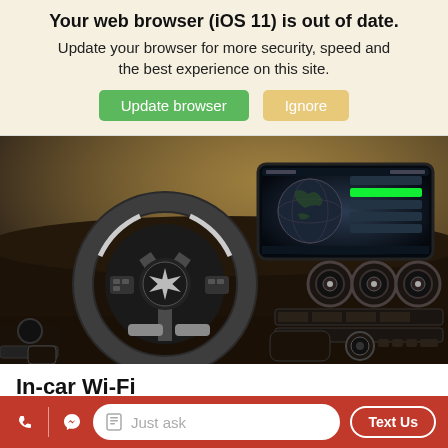Your web browser (iOS 11) is out of date. Update your browser for more security, speed and the best experience on this site.
Update browser
Ignore
[Figure (photo): Mercedes-Benz car interior showing steering wheel, dashboard, infotainment screen, and climate controls]
In-car Wi-Fi
Just ask
Text Us